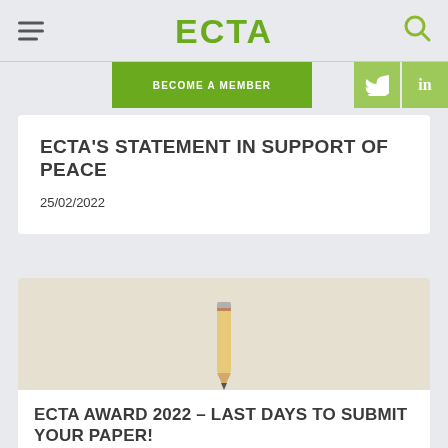ECTA
BECOME A MEMBER
ECTA'S STATEMENT IN SUPPORT OF PEACE
25/02/2022
[Figure (photo): A pencil or pen resting on a light beige/cream surface, partially visible at the bottom of the image.]
ECTA AWARD 2022 - LAST DAYS TO SUBMIT YOUR PAPER!